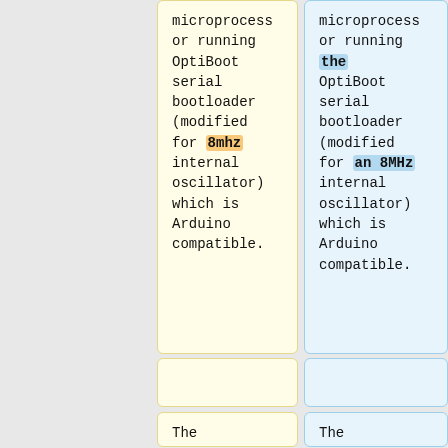microprocessor running OptiBoot serial bootloader (modified for 8mhz internal oscillator) which is Arduino compatible.
microprocessor running the OptiBoot serial bootloader (modified for an 8MHz internal oscillator) which is Arduino compatible.
The ATmega328 runs a [https://git hub.com/mhar
The ATmega328 runs a [https://git hub.com/mhar